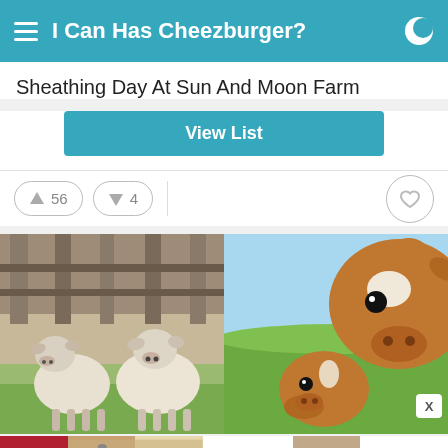I Can Has Cheezburger?
Sheathing Day At Sun And Moon Farm
View List
56
4
[Figure (photo): Two white lambs standing in front of a wooden fence on a farm]
[Figure (photo): Brown and white calf close-up with another cow in a green field]
[Figure (photo): ULTA beauty advertisement banner showing makeup, eyes, and SHOP NOW call to action]